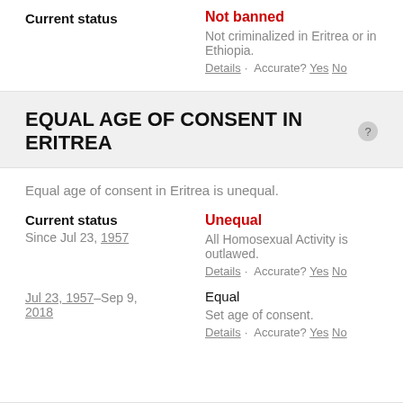Current status
Not banned
Not criminalized in Eritrea or in Ethiopia.
Details · Accurate? Yes No
EQUAL AGE OF CONSENT IN ERITREA
Equal age of consent in Eritrea is unequal.
Current status
Since Jul 23, 1957
Unequal
All Homosexual Activity is outlawed.
Details · Accurate? Yes No
Equal
Jul 23, 1957–Sep 9, 2018
Set age of consent.
Details · Accurate? Yes No